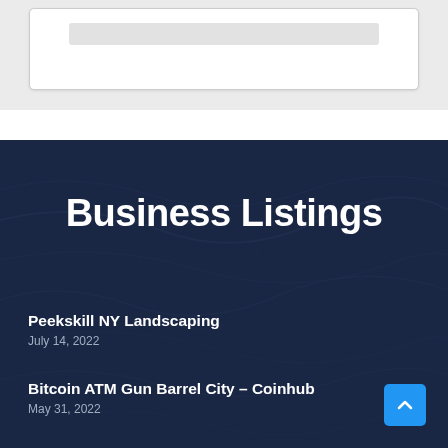[Figure (screenshot): Top section showing a white card/box UI element on a light gray background]
Business Listings
Peekskill NY Landscaping
July 14, 2022
Bitcoin ATM Gun Barrel City – Coinhub
May 31, 2022